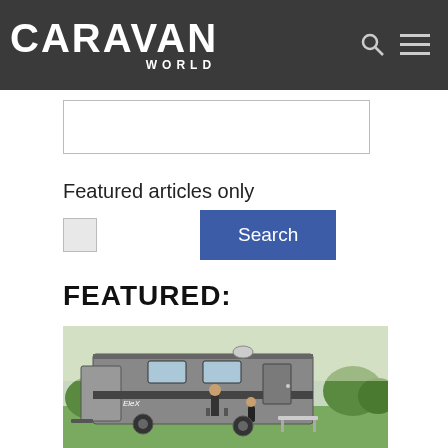CARAVAN WORLD
Featured articles only
Search
FEATURED:
[Figure (photo): Photo of a large travel trailer/caravan parked outdoors on grass. Two people, a man and a woman, are seated outside near the caravan. The man stands cooking at a camp stove. The caravan is grey with dark trim and has a satellite dish on top.]